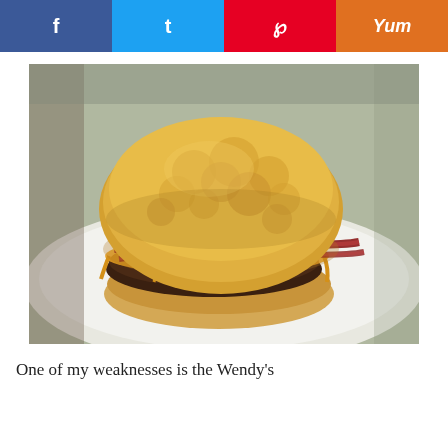[Figure (other): Social media sharing buttons: Facebook (blue), Twitter (light blue), Pinterest (red), Yummly (orange) arranged horizontally]
[Figure (photo): A large biscuit sandwich with a beef patty, melted cheddar cheese, and bacon strips on a white plate — resembling a Wendy's style biscuit sandwich]
One of my weaknesses is the Wendy's